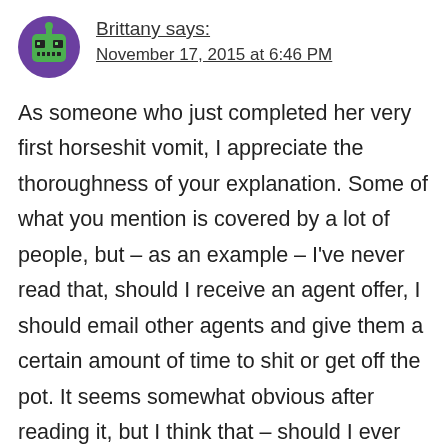Brittany says:
November 17, 2015 at 6:46 PM
As someone who just completed her very first horseshit vomit, I appreciate the thoroughness of your explanation. Some of what you mention is covered by a lot of people, but – as an example – I've never read that, should I receive an agent offer, I should email other agents and give them a certain amount of time to shit or get off the pot. It seems somewhat obvious after reading it, but I think that – should I ever reach that stage – I would have been far too excited to think of it. Now I'll know to